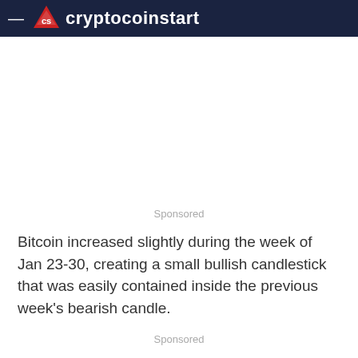cryptocoinstart
Sponsored
Bitcoin increased slightly during the week of Jan 23-30, creating a small bullish candlestick that was easily contained inside the previous week’s bearish candle.
Sponsored